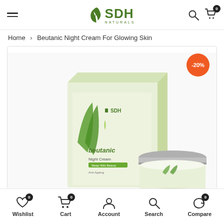SDH Naturals - navigation header with hamburger menu, logo, search and cart icons
Home > Beutanic Night Cream For Glowing Skin
[Figure (photo): Beutanic Night Cream For Glowing Skin product photo showing packaging box and cream jar with -20% discount badge]
Wishlist 0 | Cart 0 | Account | Search | Compare 0